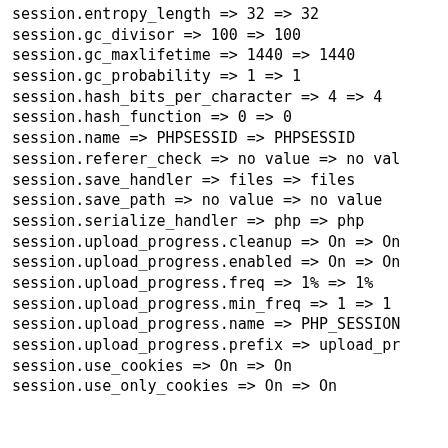session.entropy_length => 32 => 32
session.gc_divisor => 100 => 100
session.gc_maxlifetime => 1440 => 1440
session.gc_probability => 1 => 1
session.hash_bits_per_character => 4 => 4
session.hash_function => 0 => 0
session.name => PHPSESSID => PHPSESSID
session.referer_check => no value => no val
session.save_handler => files => files
session.save_path => no value => no value
session.serialize_handler => php => php
session.upload_progress.cleanup => On => On
session.upload_progress.enabled => On => On
session.upload_progress.freq => 1% => 1%
session.upload_progress.min_freq => 1 => 1
session.upload_progress.name => PHP_SESSION
session.upload_progress.prefix => upload_pr
session.use_cookies => On => On
session.use_only_cookies => On => On